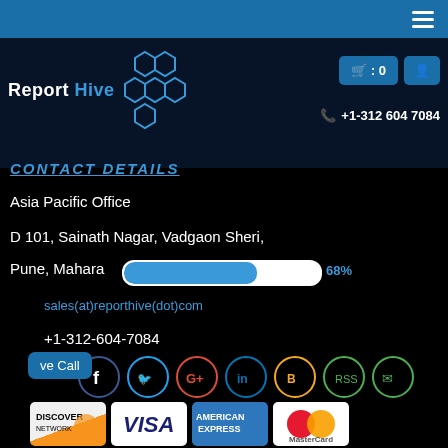Report Hive - Navigation bar
[Figure (logo): Report Hive logo with honeycomb graphic]
+1-312 604 7084
CONTACT DETAILS
Asia Pacific Office
D 101, Sainath Nagar, Vadgaon Sheri,
Pune, Maharashtra
sales(at)reporthive(dot)com
+1-312-604-7084
ve Call
[Figure (infographic): Social media icons row: Facebook, Twitter, Google+, LinkedIn, Blogger, RSS, Email]
[Figure (infographic): Payment method icons: Discover Network, Visa, American Express, MasterCard]
[Figure (infographic): Left side social share bar: Facebook, Twitter, Telegram, LinkedIn, WhatsApp, Email]
[Figure (infographic): Progress bar at 68%]